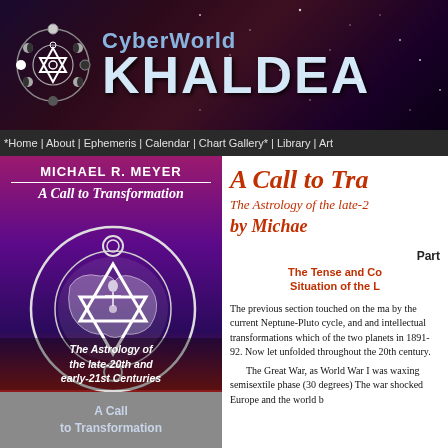[Figure (logo): CyberWorld Khaldea website header banner with night sky background, geometric symbol logo, and stylized text reading 'CyberWorld KHALDEA']
Home | About | Ephemeris | Calendar | Chart Gallery* | Library | Art
[Figure (illustration): Book cover for 'A Call to Transformation: The Astrology of the late-20th and early-21st Centuries' by Michael R. Meyer, featuring a circular emblem with world map and geometric triangle symbols on a purple/magenta cosmic background]
A Call
to Transformation
A Call to Tra...
The Astrology of the late-2...
by Michae...
Part ...
The Tense and Co...
Situation of the L...
The previous section touched on the ma... by the current Neptune-Pluto cycle, and... and intellectual transformations which... of the two planets in 1891-92. Now let... unfolded throughout the 20th century.
The Great War, as World War I was... waxing semisextile phase (30 degrees)... The war shocked Europe and the world... b...it...d...t...t...i...d...